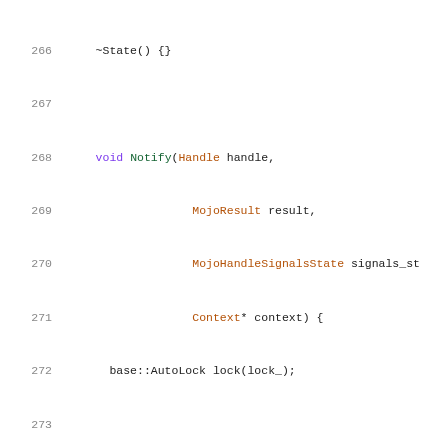[Figure (screenshot): Source code listing in C++ showing lines 266-286, including a destructor ~State(), a Notify() method with Handle, MojoResult, MojoHandleSignalsState, and Context* parameters, AutoLock usage, conditional logic checking handle_to_context_.count, DCHECK_EQ for cancelled result, ready_handles_ assignment, handle_event_.Signal(), and a comment about implicit or explicit cancellation.]